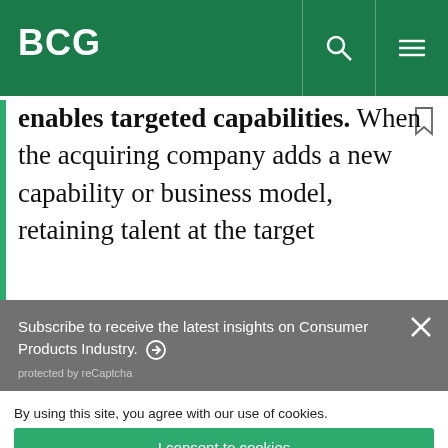BCG
enables targeted capabilities. When the acquiring company adds a new capability or business model, retaining talent at the target
Subscribe to receive the latest insights on Consumer Products Industry. ➜
protected by reCaptcha
By using this site, you agree with our use of cookies.
I consent to cookies
Want to know more?
Read our Cookie Policy